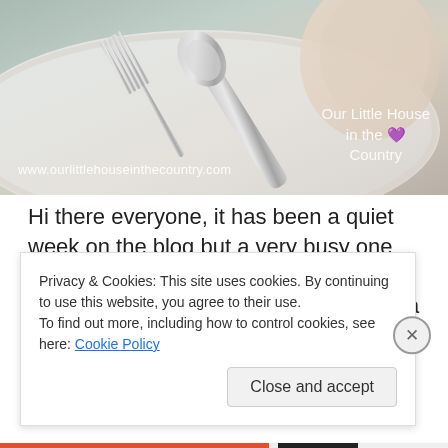[Figure (photo): Close-up photo of a spoon and fork on a white plate, with a soft hand/napkin in the background. Watermark text 'www.ourlittlehouseinthecountry.com' and 'Our Little House in the Country' with a heart icon overlaid on the image.]
Hi there everyone, it has been a quiet week on the blog but a very busy one here at Our Little House.  My gorgeous little boy started school, wow, was that a big step… for us all!  More on that again.  Today I'd like to tell
Privacy & Cookies: This site uses cookies. By continuing to use this website, you agree to their use.
To find out more, including how to control cookies, see here: Cookie Policy